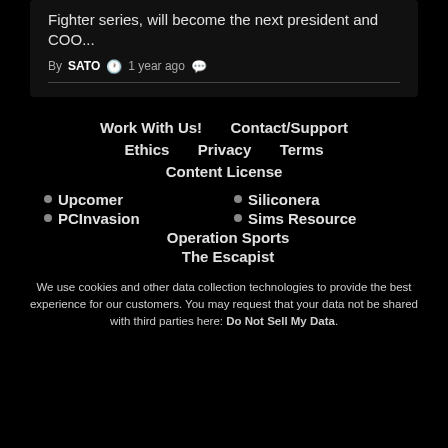Fighter series, will become the next president and COO...
By SATO  1 year ago
Work With Us!
Contact/Support
Ethics
Privacy
Terms
Content License
Upcomer
Siliconera
PCInvasion
Sims Resource
Operation Sports
The Escapist
We use cookies and other data collection technologies to provide the best experience for our customers. You may request that your data not be shared with third parties here: Do Not Sell My Data.